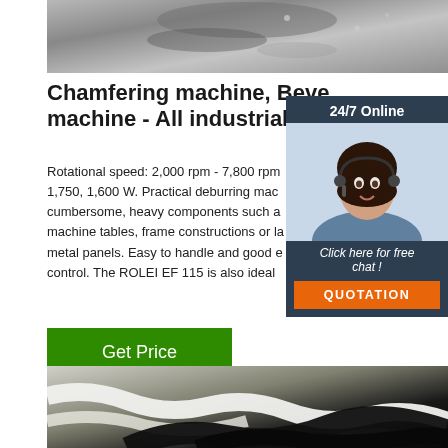[Figure (photo): Close-up photo of a metallic chamfering/beveling machine surface, top crop]
Chamfering machine, Beve... machine - All industrial ...
Rotational speed: 2,000 rpm - 7,800 rpm 1,750, 1,600 W. Practical deburring mac... cumbersome, heavy components such a... machine tables, frame constructions or la... metal panels. Easy to handle and good e... control. The ROLEI EF 115 is also ideal...
[Figure (photo): Customer service agent woman wearing headset, 24/7 Online chat widget with dark blue background and orange Quotation button]
[Figure (photo): Close-up photo of industrial cables/wires, bottom crop]